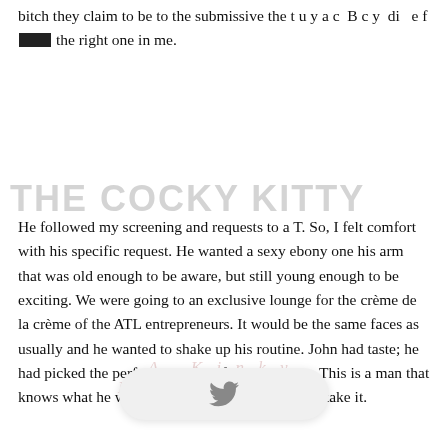bitch they claim to be to the submissive the toyace Boy did e f[...] the right one in me.
THE COCKY KITTY
He followed my screening and requests to a T. So, I felt comfort with his specific request. He wanted a sexy ebony one his arm that was old enough to be aware, but still young enough to be exciting. We were going to an exclusive lounge for the crème de la crème of the ATL entrepreneurs. It would be the same faces as usually and he wanted to shake up his routine. John had taste; he had picked the perfect ensemble for me to wear. This is a man that knows what he wanted and go get it and take it.
[Figure (logo): Twitter bird icon inside a white rounded pill/button shape]